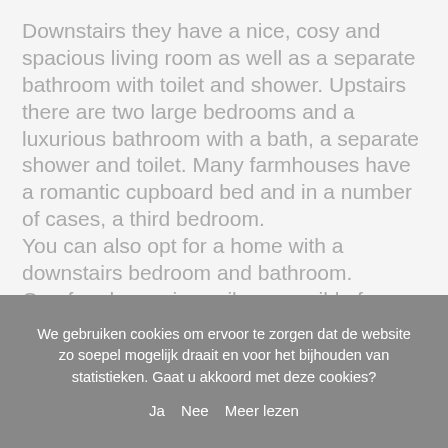Downstairs they have a nice, cosy and spacious living room as well as a separate bathroom with toilet and shower. Upstairs there are two large bedrooms and a luxurious bathroom with a bath, a separate shower and toilet. Many farmhouses have a romantic cupboard bed and in a number of cases, a third bedroom.
You can also opt for a home with a downstairs bedroom and bathroom.
One farmhouse is easily accessible for wheelchair users and has an adapted bathroom.
We gebruiken cookies om ervoor te zorgen dat de website zo soepel mogelijk draait en voor het bijhouden van statistieken. Gaat u akkoord met deze cookies?
Ja  Nee  Meer lezen